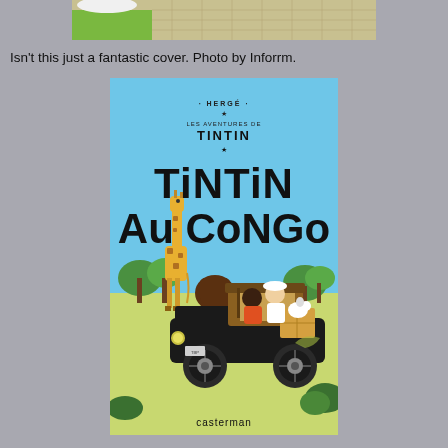[Figure (photo): Partial photo showing what appears to be a tiled floor and green surface, cropped at the top of the page]
Isn't this just a fantastic cover. Photo by Inforrm.
[Figure (illustration): Book cover of Tintin Au Congo by Hergé (Casterman). Features the title 'Tintin Au Congo' in large black letters on a blue sky background. Below is an illustrated scene with a vintage black automobile carrying characters including Tintin, with a giraffe visible in the background amid African savanna trees.]